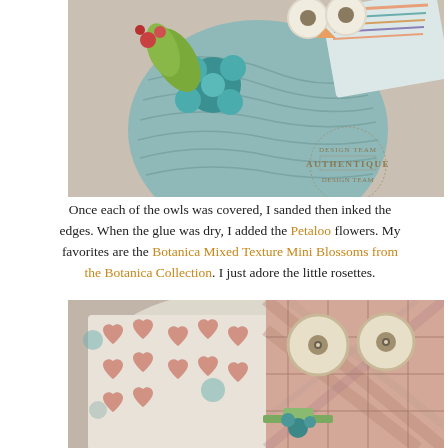[Figure (photo): Close-up photo of an owl craft project made with scrapbook papers. Shows a teal/aqua woodgrain-patterned owl body with a teal flower decoration, green leaf, orange/red berries, and striped patterned paper at top. An Authentique Design Team stamp is visible in the lower right of the image.]
Once each of the owls was covered, I sanded then inked the edges. When the glue was dry, I added the Petaloo flowers. My favorites are the Botanica Mixed Texture Mini Blossoms from the Botanica Collection. I just adore the little rosettes.
[Figure (photo): Close-up photo of another owl craft project. Shows an owl with a plaid/tartan patterned paper body in pinks, peach, and gray tones, with a white/cream patterned body section with heart shapes. The owl has wooden button eyes and ribbon/flower embellishments at the bottom.]